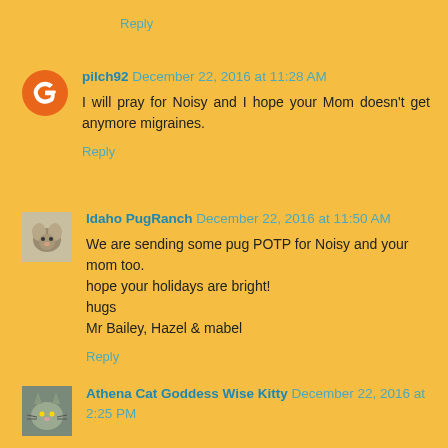Reply
pilch92  December 22, 2016 at 11:28 AM
I will pray for Noisy and I hope your Mom doesn't get anymore migraines.
Reply
Idaho PugRanch  December 22, 2016 at 11:50 AM
We are sending some pug POTP for Noisy and your mom too.
hope your holidays are bright!
hugs
Mr Bailey, Hazel & mabel
Reply
Athena Cat Goddess Wise Kitty  December 22, 2016 at 2:25 PM